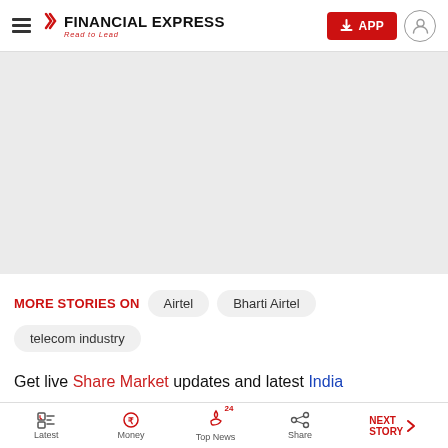Financial Express — Read to Lead
[Figure (other): Advertisement placeholder area, light grey background]
MORE STORIES ON   Airtel   Bharti Airtel   telecom industry
Get live Share Market updates and latest India and business news on Financial Express.
Latest | Money | Top News | Share | NEXT STORY